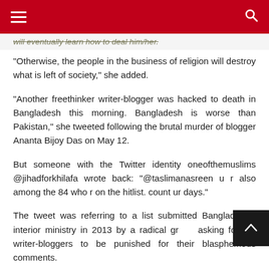≡  [search icon]
will eventually learn how to deal him/her.
“Otherwise, the people in the business of religion will destroy what is left of society,” she added.
“Another freethinker writer-blogger was hacked to death in Bangladesh this morning. Bangladesh is worse than Pakistan,” she tweeted following the brutal murder of blogger Ananta Bijoy Das on May 12.
But someone with the Twitter identity oneofthemuslims @jihadforkhilafa wrote back: “@taslimanasreen u r also among the 84 who r on the hitlist. count ur days.”
The tweet was referring to a list submitted Bangladesh’s interior ministry in 2013 by a radical gr asking for the writer-bloggers to be punished for their blasphemous comments.